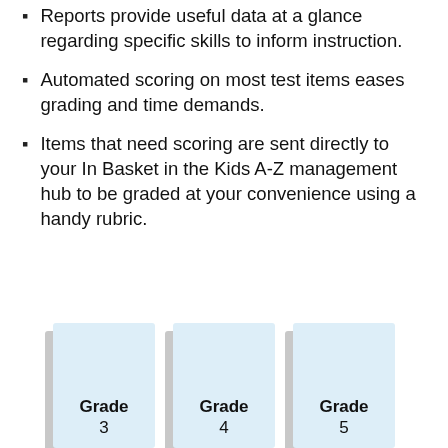Reports provide useful data at a glance regarding specific skills to inform instruction.
Automated scoring on most test items eases grading and time demands.
Items that need scoring are sent directly to your In Basket in the Kids A-Z management hub to be graded at your convenience using a handy rubric.
[Figure (illustration): Three grade-level cards labeled Grade 3, Grade 4, and Grade 5, shown as light blue rectangular cards with drop shadows, partially cropped at the bottom of the page.]